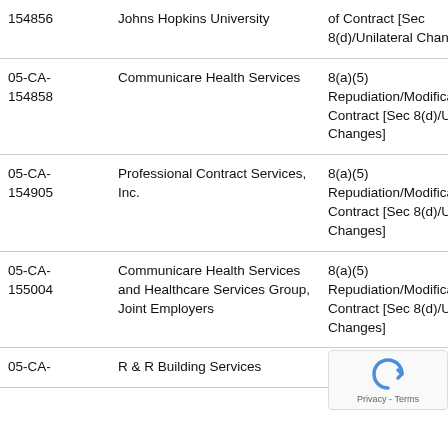| Case No. | Employer | Allegation |
| --- | --- | --- |
| 154856 | Johns Hopkins University | 8(a)(5) Repudiation/Modification of Contract [Sec 8(d)/Unilateral Changes] |
| 05-CA-154858 | Communicare Health Services | 8(a)(5) Repudiation/Modification of Contract [Sec 8(d)/Unilateral Changes] |
| 05-CA-154905 | Professional Contract Services, Inc. | 8(a)(5) Repudiation/Modification of Contract [Sec 8(d)/Unilateral Changes] |
| 05-CA-155004 | Communicare Health Services and Healthcare Services Group, Joint Employers | 8(a)(5) Repudiation/Modification of Contract [Sec 8(d)/Unilateral Changes] |
| 05-CA- | R & R Building Services | 8(a)(5) Repudiation/M... |